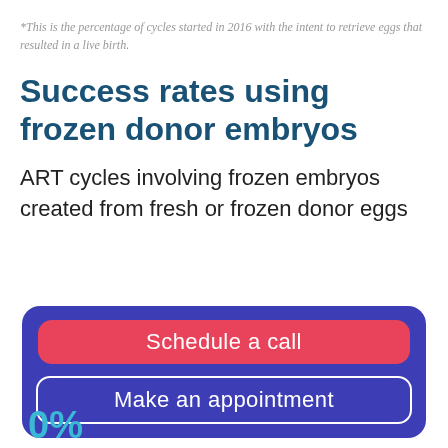*This is the percentage of cycles started in 2016 with the intent to retrieve eggs that resulted in a live birth.
Success rates using frozen donor embryos
ART cycles involving frozen embryos created from fresh or frozen donor eggs
Schedule a call
Make an appointment
0%